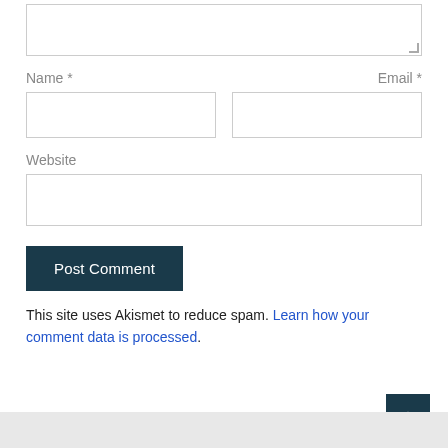[Figure (screenshot): Partial textarea input box at the top of the page with a resize handle]
Name *
Email *
Website
Post Comment
This site uses Akismet to reduce spam. Learn how your comment data is processed.